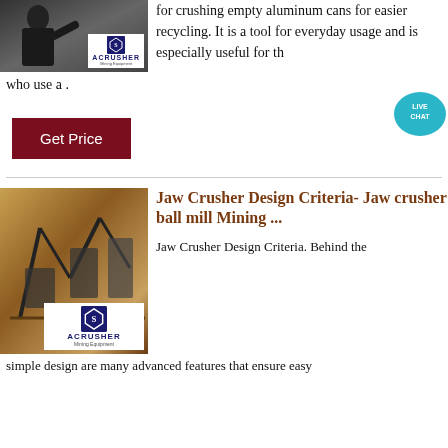[Figure (photo): Photo of a person with ACRUSHER Mining Equipment logo overlay]
for crushing empty aluminum cans for easier recycling. It is a tool for everyday usage and is especially useful for th who use a .
[Figure (illustration): Live Chat bubble icon]
Get Price
[Figure (photo): Aerial photo of mining/jaw crusher equipment site with ACRUSHER Mining Equipment logo overlay]
Jaw Crusher Design Criteria- Jaw crusher ball mill Mining ...
Jaw Crusher Design Criteria. Behind the simple design are many advanced features that ensure easy